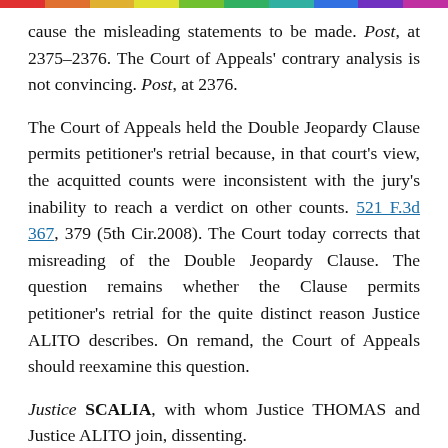cause the misleading statements to be made. Post, at 2375–2376. The Court of Appeals' contrary analysis is not convincing. Post, at 2376.
The Court of Appeals held the Double Jeopardy Clause permits petitioner's retrial because, in that court's view, the acquitted counts were inconsistent with the jury's inability to reach a verdict on other counts. 521 F.3d 367, 379 (5th Cir.2008). The Court today corrects that misreading of the Double Jeopardy Clause. The question remains whether the Clause permits petitioner's retrial for the quite distinct reason Justice ALITO describes. On remand, the Court of Appeals should reexamine this question.
Justice SCALIA, with whom Justice THOMAS and Justice ALITO join, dissenting.
The Double Jeopardy Clause of the Fifth Amendment provides that no person shall "be subject for the same offence to be twice put in jeopardy